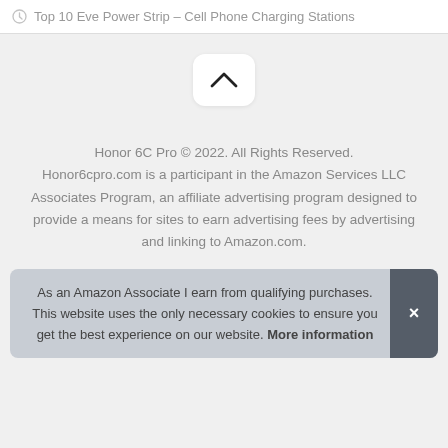Top 10 Eve Power Strip – Cell Phone Charging Stations
[Figure (other): A white rounded button with an upward chevron arrow icon, used as a scroll-to-top button]
Honor 6C Pro © 2022. All Rights Reserved. Honor6cpro.com is a participant in the Amazon Services LLC Associates Program, an affiliate advertising program designed to provide a means for sites to earn advertising fees by advertising and linking to Amazon.com.
As an Amazon Associate I earn from qualifying purchases. This website uses the only necessary cookies to ensure you get the best experience on our website. More information